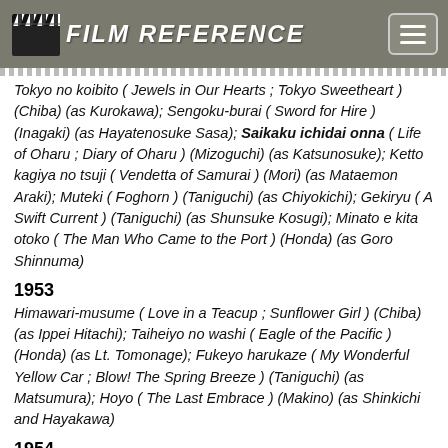FILM REFERENCE
Tokyo no koibito ( Jewels in Our Hearts ; Tokyo Sweetheart ) (Chiba) (as Kurokawa); Sengoku-burai ( Sword for Hire ) (Inagaki) (as Hayatenosuke Sasa); Saikaku ichidai onna ( Life of Oharu ; Diary of Oharu ) (Mizoguchi) (as Katsunosuke); Ketto kagiya no tsuji ( Vendetta of Samurai ) (Mori) (as Mataemon Araki); Muteki ( Foghorn ) (Taniguchi) (as Chiyokichi); Gekiryu ( A Swift Current ) (Taniguchi) (as Shunsuke Kosugi); Minato e kita otoko ( The Man Who Came to the Port ) (Honda) (as Goro Shinnuma)
1953
Himawari-musume ( Love in a Teacup ; Sunflower Girl ) (Chiba) (as Ippei Hitachi); Taiheiyo no washi ( Eagle of the Pacific ) (Honda) (as Lt. Tomonage); Fukeyo harukaze ( My Wonderful Yellow Car ; Blow! The Spring Breeze ) (Taniguchi) (as Matsumura); Hoyo ( The Last Embrace ) (Makino) (as Shinkichi and Hayakawa)
1954